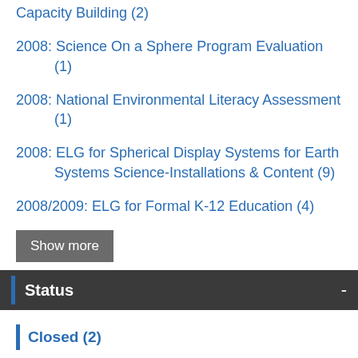Capacity Building (2)
2008: Science On a Sphere Program Evaluation (1)
2008: National Environmental Literacy Assessment (1)
2008: ELG for Spherical Display Systems for Earth Systems Science-Installations & Content (9)
2008/2009: ELG for Formal K-12 Education (4)
Show more
Status
Closed (2)